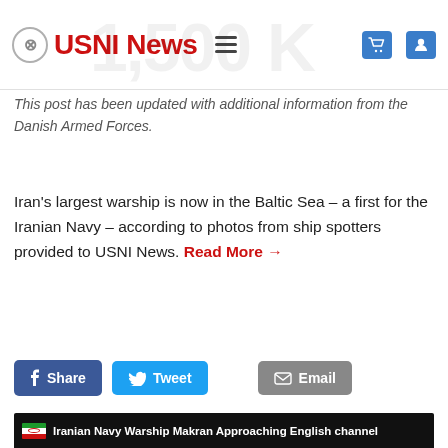USNI News
This post has been updated with additional information from the Danish Armed Forces.
Iran's largest warship is now in the Baltic Sea – a first for the Iranian Navy – according to photos from ship spotters provided to USNI News. Read More →
[Figure (screenshot): Social sharing buttons: Share (Facebook), Tweet (Twitter), Email]
[Figure (screenshot): Embedded video thumbnail titled 'Iranian Navy Warship Makran Approaching English channel', dated Jul 18, 2021, showing a ship at night on the left and a map of northwest Europe on the right with the Iranian flag icon.]